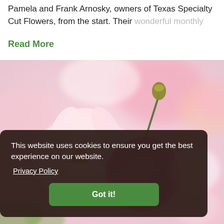Pamela and Frank Arnosky, owners of Texas Specialty Cut Flowers, from the start. Their wonderful monthly
Read More
[Figure (photo): Close-up photograph of blooming flowers including pink, white, and magenta dahlias with blurred background]
This website uses cookies to ensure you get the best experience on our website.
Privacy Policy
Got it!